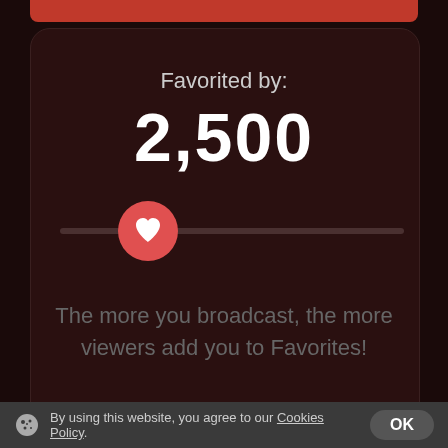[Figure (screenshot): Mobile app screenshot showing a 'Favorited by: 2,500' card with a heart/slider UI element on a dark red background]
Favorited by:
2,500
The more you broadcast, the more viewers add you to Favorites!
By using this website, you agree to our Cookies Policy. OK